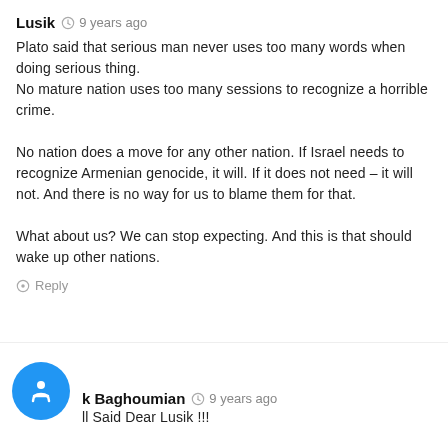Lusik  9 years ago
Plato said that serious man never uses too many words when doing serious thing.
No mature nation uses too many sessions to recognize a horrible crime.

No nation does a move for any other nation. If Israel needs to recognize Armenian genocide, it will. If it does not need – it will not. And there is no way for us to blame them for that.

What about us? We can stop expecting. And this is that should wake up other nations.
Reply
k Baghoumian  9 years ago
ll Said Dear Lusik !!!